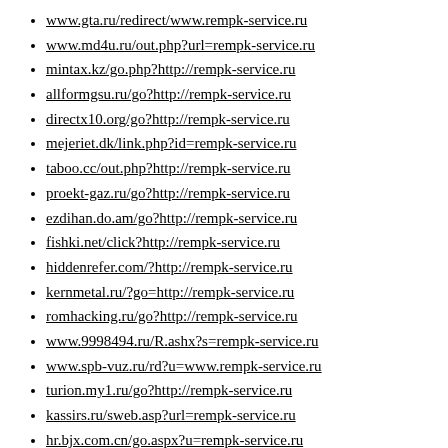www.gta.ru/redirect/www.rempk-service.ru
www.md4u.ru/out.php?url=rempk-service.ru
mintax.kz/go.php?http://rempk-service.ru
allformgsu.ru/go?http://rempk-service.ru
directx10.org/go?http://rempk-service.ru
mejeriet.dk/link.php?id=rempk-service.ru
taboo.cc/out.php?http://rempk-service.ru
proekt-gaz.ru/go?http://rempk-service.ru
ezdihan.do.am/go?http://rempk-service.ru
fishki.net/click?http://rempk-service.ru
hiddenrefer.com/?http://rempk-service.ru
kernmetal.ru/?go=http://rempk-service.ru
romhacking.ru/go?http://rempk-service.ru
www.9998494.ru/R.ashx?s=rempk-service.ru
www.spb-vuz.ru/rd?u=www.rempk-service.ru
turion.my1.ru/go?http://rempk-service.ru
kassirs.ru/sweb.asp?url=rempk-service.ru
hr.bjx.com.cn/go.aspx?u=rempk-service.ru
www.allods.net/redirect/rempk-service.ru